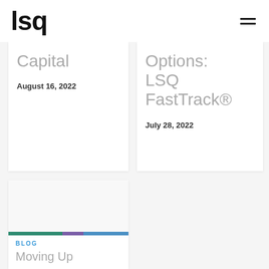lsq
Capital
August 16, 2022
Options: LSQ FastTrack®
July 28, 2022
[Figure (illustration): Blog card image placeholder with colored bar (green, purple, blue)]
BLOG
Moving Up